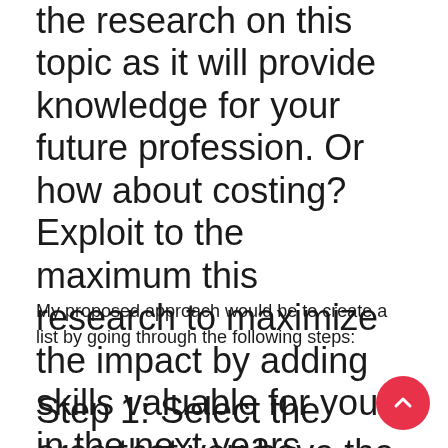the research on this topic as it will provide knowledge for your future profession. Or how about costing? Exploit to the maximum this research to maximize the impact by adding skills valuable for you in the next years.
My proposed approach would be to create a list by going through the following steps:
Step 1: Select the area that you have the most